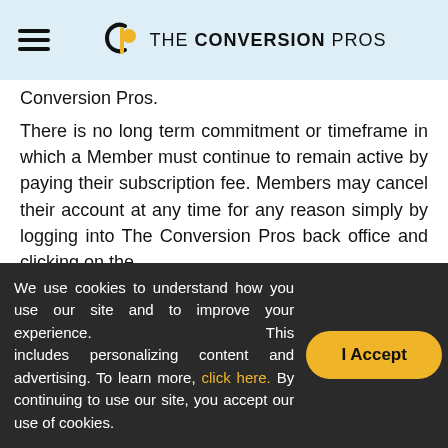THE CONVERSION PROS
Conversion Pros.
There is no long term commitment or timeframe in which a Member must continue to remain active by paying their subscription fee. Members may cancel their account at any time for any reason simply by logging into The Conversion Pros back office and clicking on the
We use cookies to understand how you use our site and to improve your experience. This includes personalizing content and advertising. To learn more, click here. By continuing to use our site, you accept our use of cookies.